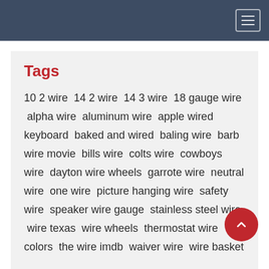navigation header with hamburger menu
Tags
10 2 wire 14 2 wire 14 3 wire 18 gauge wire alpha wire aluminum wire apple wired keyboard baked and wired baling wire barb wire movie bills wire colts wire cowboys wire dayton wire wheels garrote wire neutral wire one wire picture hanging wire safety wire speaker wire gauge stainless steel wire wire texas wire wheels thermostat wire colors the wire imdb waiver wire wire basket